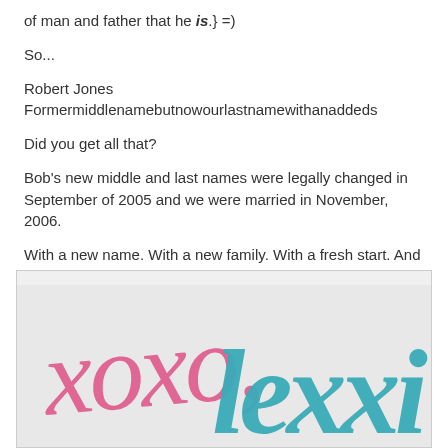of man and father that he is.} =)
So...
Robert Jones Formermiddlenamebutnowourlastnamewithanaddeds
Did you get all that?
Bob's new middle and last names were legally changed in September of 2005 and we were married in November, 2006.
With a new name. With a new family. With a fresh start. And it was beautiful.
[Figure (illustration): Handwritten-style signature graphic with 'xoxo,' in pink cursive script and 'lexxi' in teal/turquoise bold italic script on a light gray background]